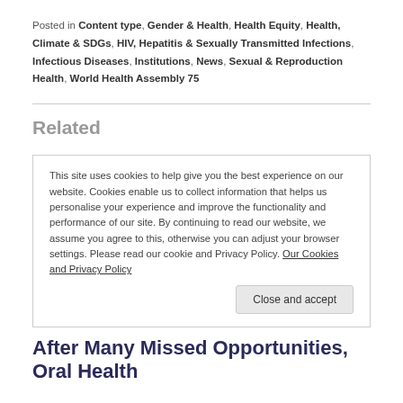Posted in Content type, Gender & Health, Health Equity, Health, Climate & SDGs, HIV, Hepatitis & Sexually Transmitted Infections, Infectious Diseases, Institutions, News, Sexual & Reproduction Health, World Health Assembly 75
Related
This site uses cookies to help give you the best experience on our website. Cookies enable us to collect information that helps us personalise your experience and improve the functionality and performance of our site. By continuing to read our website, we assume you agree to this, otherwise you can adjust your browser settings. Please read our cookie and Privacy Policy. Our Cookies and Privacy Policy
Close and accept
After Many Missed Opportunities, Oral Health